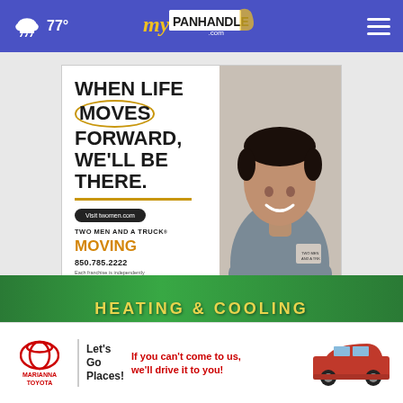77° myPanhandle.com
[Figure (photo): Two Men and a Truck advertisement. Large bold text reads: WHEN LIFE MOVES FORWARD, WE'LL BE THERE. Button: Visit twomen.com. TWO MEN AND A TRUCK. MOVING. 850.785.2222. Each franchise is independently owned and operated. U.S. DOT No. 2014393. Photo of smiling young man in gray TWO MEN AND A TRUCK shirt.]
[Figure (photo): Partial green banner for HEATING & COOLING advertisement, partially visible at bottom of page.]
[Figure (photo): Marianna Toyota advertisement. Toyota logo. Let's Go Places! If you can't come to us, we'll drive it to you! Photo of red Toyota SUV.]